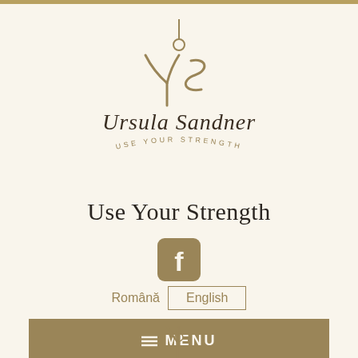[Figure (logo): Ursula Sandner 'Use Your Strength' logo with stylized YS monogram and script text]
Use Your Strength
[Figure (logo): Facebook icon - rounded square with white F]
Română  English
≡ MENU
[Figure (logo): Partial Ursula Sandner logo visible at bottom of page]